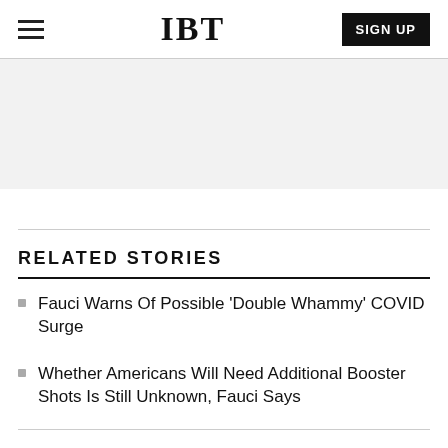IBT
RELATED STORIES
Fauci Warns Of Possible 'Double Whammy' COVID Surge
Whether Americans Will Need Additional Booster Shots Is Still Unknown, Fauci Says